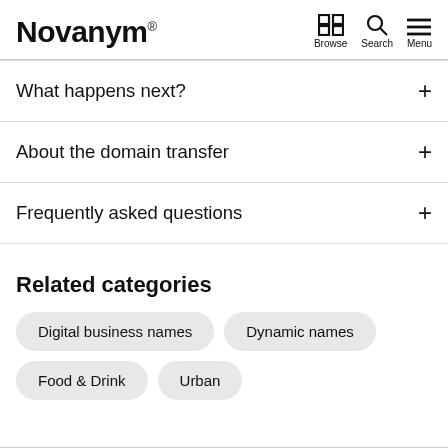Novanym®  Browse  Search  Menu
What happens next?
About the domain transfer
Frequently asked questions
Related categories
Digital business names
Dynamic names
Food & Drink
Urban